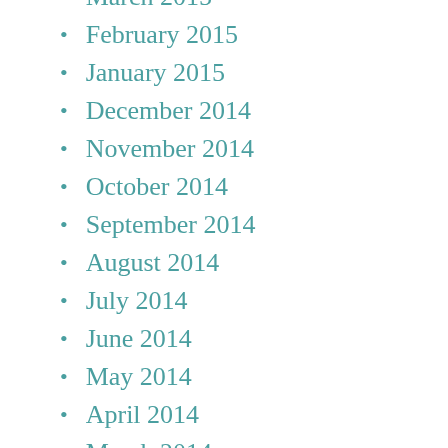March 2015
February 2015
January 2015
December 2014
November 2014
October 2014
September 2014
August 2014
July 2014
June 2014
May 2014
April 2014
March 2014
February 2014
January 2014
September 2012
March 2012
February 2012